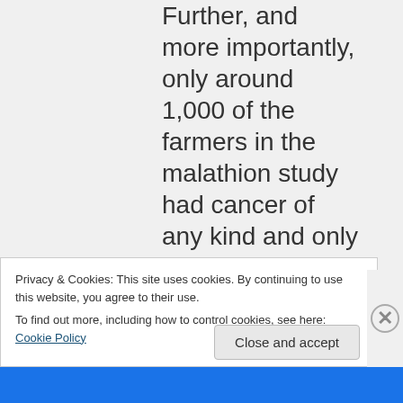Further, and more importantly, only around 1,000 of the farmers in the malathion study had cancer of any kind and only 37 non-
Privacy & Cookies: This site uses cookies. By continuing to use this website, you agree to their use.
To find out more, including how to control cookies, see here: Cookie Policy
Close and accept